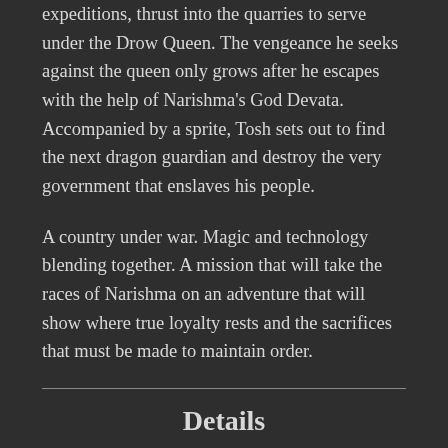expeditions, thrust into the quarries to serve under the Drow Queen. The vengeance he seeks against the queen only grows after he escapes with the help of Narishma's God Devata. Accompanied by a sprite, Tosh sets out to find the next dragon guardian and destroy the very government that enslaves his people.
A country under war. Magic and technology blending together. A mission that will take the races of Narishma on an adventure that will show where true loyalty rests and the sacrifices that must be made to maintain order.
Details
Author: Amber Morant
Series: Devata Saga, Book 1
Genre: Dungeonpunk